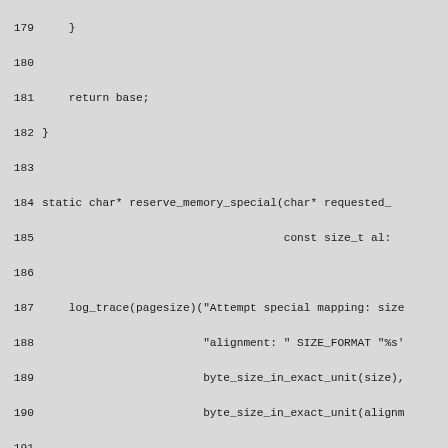Source code listing lines 179-208